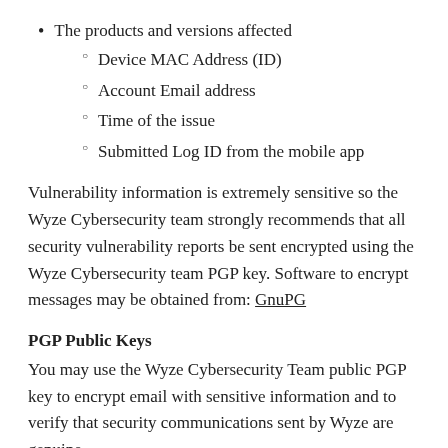The products and versions affected
Device MAC Address (ID)
Account Email address
Time of the issue
Submitted Log ID from the mobile app
Vulnerability information is extremely sensitive so the Wyze Cybersecurity team strongly recommends that all security vulnerability reports be sent encrypted using the Wyze Cybersecurity team PGP key. Software to encrypt messages may be obtained from: GnuPG
PGP Public Keys
You may use the Wyze Cybersecurity Team public PGP key to encrypt email with sensitive information and to verify that security communications sent by Wyze are genuine.